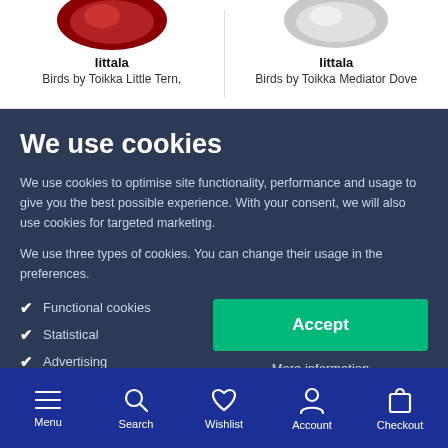[Figure (photo): Product image - Iittala Birds by Toikka Little Tern (red/dark colored bird figurine, top portion visible)]
Iittala
Birds by Toikka Little Tern,
[Figure (photo): Product image - Iittala Birds by Toikka Mediator Dove (silver/white colored bird figurine, top portion visible)]
Iittala
Birds by Toikka Mediator Dove
We use cookies
We use cookies to optimise site functionality, performance and usage to give you the best possible experience. With your consent, we will also use cookies for targeted marketing.
We use three types of cookies. You can change their usage in the preferences.
Functional cookies
Statistical
Advertising
Accept
More information
Menu  Search  Wishlist  Account  Checkout